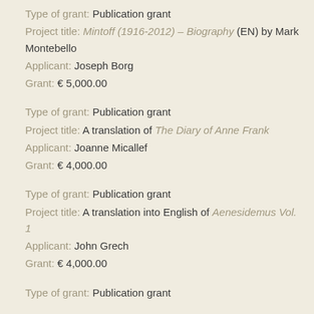Type of grant: Publication grant
Project title: Mintoff (1916-2012) – Biography (EN) by Mark Montebello
Applicant: Joseph Borg
Grant: € 5,000.00
Type of grant: Publication grant
Project title: A translation of The Diary of Anne Frank
Applicant: Joanne Micallef
Grant: € 4,000.00
Type of grant: Publication grant
Project title: A translation into English of Aenesidemus Vol. 1
Applicant: John Grech
Grant: € 4,000.00
Type of grant: Publication grant